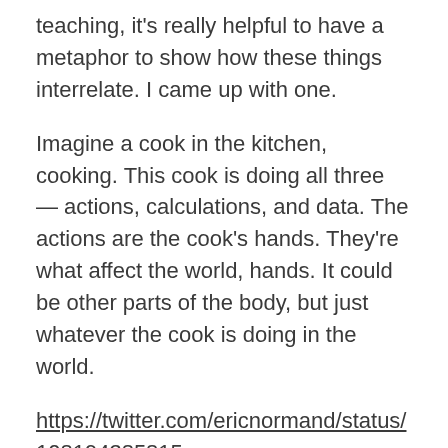teaching, it's really helpful to have a metaphor to show how these things interrelate. I came up with one.
Imagine a cook in the kitchen, cooking. This cook is doing all three — actions, calculations, and data. The actions are the cook's hands. They're what affect the world, hands. It could be other parts of the body, but just whatever the cook is doing in the world.
https://twitter.com/ericnormand/status/108194385815
In the cook's head are all the calculations. The calculations are, "I need to double this recipe because I'm having twice as many guests over as the recipe calls for," or the cook needs to make a